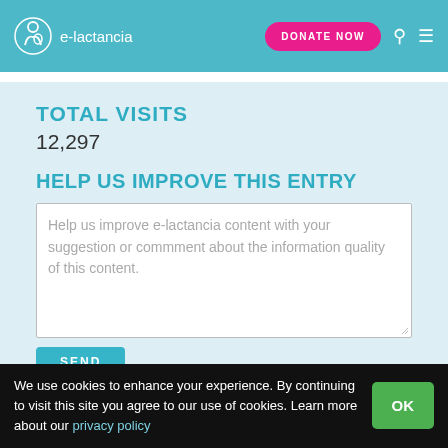e-lactancia — DONATE NOW
TOTAL VISITS
12,297
HELP US IMPROVE THIS ENTRY
Help us improve e-lactancia content with your suggestion or commment about the information quality of this content.
SEND
We use cookies to enhance your experience. By continuing to visit this site you agree to our use of cookies. Learn more about our privacy policy